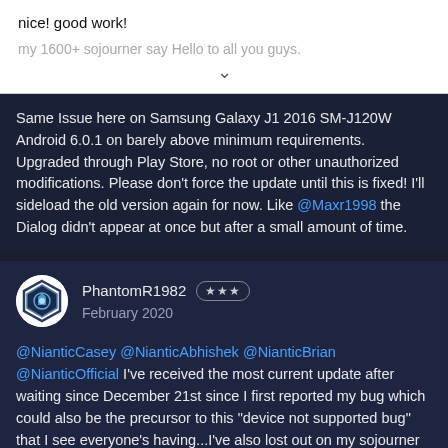nice! good work!
my 1600+ sojourner say Hello to all you guys.
Same Issue here on Samsung Galaxy J1 2016 SM-J120W Android 6.0.1 on barely above minimum requirements. Upgraded through Play Store, no root or other unauthorized modifications. Please don't force the update until this is fixed! I'll sideload the old version again for now. Like @Maxr1998 the Dialog didn't appear at once but after a small amount of time.
PhantomR1982 ★★★ February 2020
@NianticCasey @NianticAbhishek @NianticBrian @NianticOfficial I've received the most current update after waiting since December 21st since I first reported my bug which could also be the precursor to this "device not supported bug" that I see everyone's having...I've also lost out on my sojourner back then as well so I lost all hope in getting it fixed quickly on